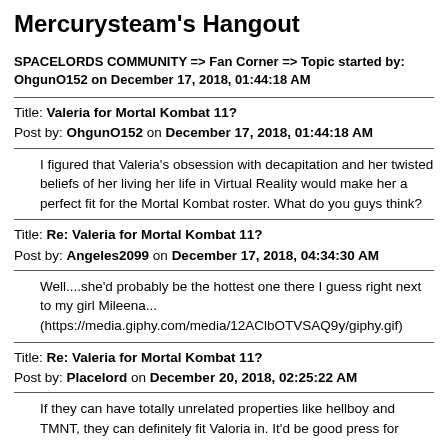Mercurysteam's Hangout
SPACELORDS COMMUNITY => Fan Corner => Topic started by: OhgunO152 on December 17, 2018, 01:44:18 AM
Title: Valeria for Mortal Kombat 11?
Post by: OhgunO152 on December 17, 2018, 01:44:18 AM
I figured that Valeria's obsession with decapitation and her twisted beliefs of her living her life in Virtual Reality would make her a perfect fit for the Mortal Kombat roster. What do you guys think?
Title: Re: Valeria for Mortal Kombat 11?
Post by: Angeles2099 on December 17, 2018, 04:34:30 AM
Well....she'd probably be the hottest one there I guess right next to my girl Mileena...
(https://media.giphy.com/media/12AClbOTVSAQ9y/giphy.gif)
Title: Re: Valeria for Mortal Kombat 11?
Post by: Placelord on December 20, 2018, 02:25:22 AM
If they can have totally unrelated properties like hellboy and TMNT, they can definitely fit Valeria in. It'd be good press for